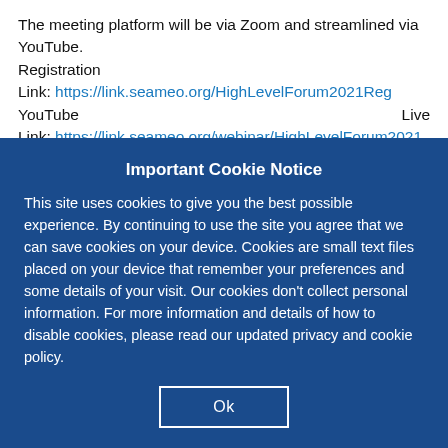The meeting platform will be via Zoom and streamlined via YouTube.
Registration
Link: https://link.seameo.org/HighLevelForum2021Reg
YouTube                                          Live
Link: https://link.seameo.org/webinar/HighLevelForum2021
Important Cookie Notice
This site uses cookies to give you the best possible experience. By continuing to use the site you agree that we can save cookies on your device. Cookies are small text files placed on your device that remember your preferences and some details of your visit. Our cookies don't collect personal information. For more information and details of how to disable cookies, please read our updated privacy and cookie policy.
Ok